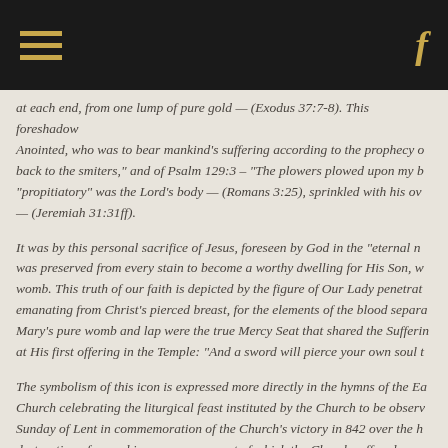at each end, from one lump of pure gold — (Exodus 37:7-8). This foreshadowed the Anointed, who was to bear mankind's suffering according to the prophecy of... back to the smiters," and of Psalm 129:3 – "The plowers plowed upon my b... "propitiatory" was the Lord's body — (Romans 3:25), sprinkled with his ov... — (Jeremiah 31:31ff).
It was by this personal sacrifice of Jesus, foreseen by God in the "eternal n... was preserved from every stain to become a worthy dwelling for His Son, w... womb. This truth of our faith is depicted by the figure of Our Lady penetrat... emanating from Christ's pierced breast, for the elements of the blood separa... Mary's pure womb and lap were the true Mercy Seat that shared the Sufferin... at His first offering in the Temple: "And a sword will pierce your own soul t...
The symbolism of this icon is expressed more directly in the hymns of the Ea... Church celebrating the liturgical feast instituted by the Church to be observ... Sunday of Lent in commemoration of the Church's victory in 842 over the h... destruction of sacred images, on account of which the Church suffered grea... The hymn that sets the tune for the Odes which follow it in the Morning Pra... sacrifice to You, O Lord, with the voice of thanksgiving, the Church cries ou...